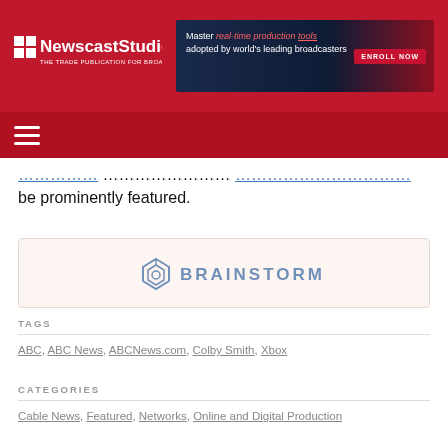NewscastStudio — THE TRADE PUBLICATION FOR BROADCAST PRODUCTION
[Figure (logo): Brainstorm sponsor logo on light pink/cream background]
be prominently featured.
TAGS
ABC, ABC News, ABCNews.com, Colby Smith, Xbox
CATEGORIES
Cable News, Featured, Networks, Online and Digital Production